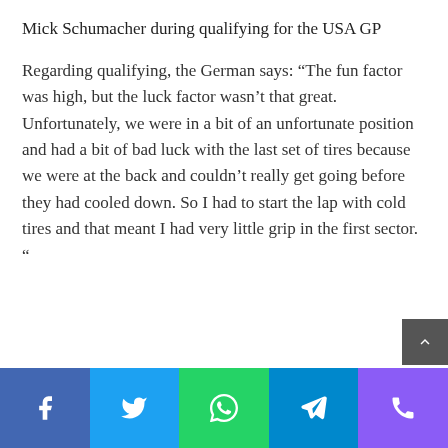Mick Schumacher during qualifying for the USA GP
Regarding qualifying, the German says: “The fun factor was high, but the luck factor wasn’t that great. Unfortunately, we were in a bit of an unfortunate position and had a bit of bad luck with the last set of tires because we were at the back and couldn’t really get going before they had cooled down. So I had to start the lap with cold tires and that meant I had very little grip in the first sector. “
Social share buttons: Facebook, Twitter, WhatsApp, Telegram, Viber